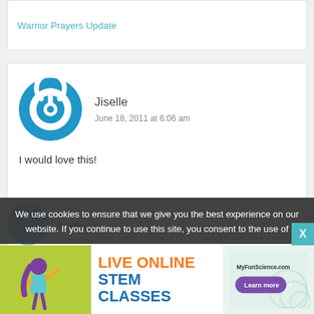Warrior Prayers Update
[Figure (illustration): Blue circular power button icon avatar for user Jiselle]
Jiselle
June 18, 2011 at 6:06 am
I would love this!
Amie
We use cookies to ensure that we give you the best experience on our website. If you continue to use this site, you consent to the use of
[Figure (illustration): Live Online STEM Classes advertisement banner for MyFunScience.com with cartoon girl figure]